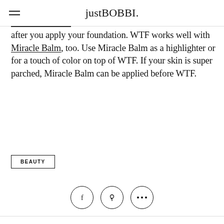justBOBBI.
after you apply your foundation. WTF works well with Miracle Balm, too. Use Miracle Balm as a highlighter or for a touch of color on top of WTF. If your skin is super parched, Miracle Balm can be applied before WTF.
BEAUTY
[Figure (other): Three social sharing icon circles: Facebook (f), Pinterest (pin), and more options (ellipsis ...)]